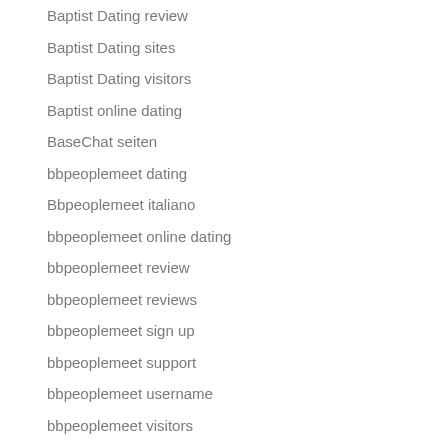Baptist Dating review
Baptist Dating sites
Baptist Dating visitors
Baptist online dating
BaseChat seiten
bbpeoplemeet dating
Bbpeoplemeet italiano
bbpeoplemeet online dating
bbpeoplemeet review
bbpeoplemeet reviews
bbpeoplemeet sign up
bbpeoplemeet support
bbpeoplemeet username
bbpeoplemeet visitors
Bbw dating sites top 10